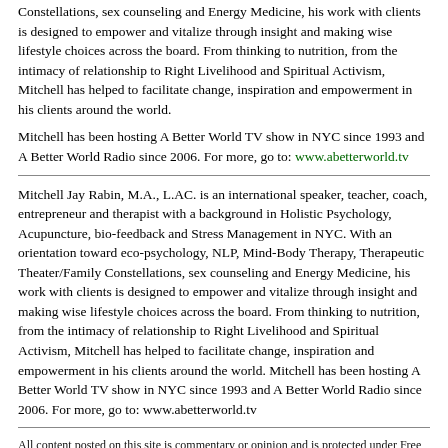Constellations, sex counseling and Energy Medicine, his work with clients is designed to empower and vitalize through insight and making wise lifestyle choices across the board. From thinking to nutrition, from the intimacy of relationship to Right Livelihood and Spiritual Activism, Mitchell has helped to facilitate change, inspiration and empowerment in his clients around the world.
Mitchell has been hosting A Better World TV show in NYC since 1993 and A Better World Radio since 2006. For more, go to: www.abetterworld.tv
Mitchell Jay Rabin, M.A., L.AC. is an international speaker, teacher, coach, entrepreneur and therapist with a background in Holistic Psychology, Acupuncture, bio-feedback and Stress Management in NYC. With an orientation toward eco-psychology, NLP, Mind-Body Therapy, Therapeutic Theater/Family Constellations, sex counseling and Energy Medicine, his work with clients is designed to empower and vitalize through insight and making wise lifestyle choices across the board. From thinking to nutrition, from the intimacy of relationship to Right Livelihood and Spiritual Activism, Mitchell has helped to facilitate change, inspiration and empowerment in his clients around the world. Mitchell has been hosting A Better World TV show in NYC since 1993 and A Better World Radio since 2006. For more, go to: www.abetterworld.tv
All content posted on this site is commentary or opinion and is protected under Free Speech. Truth Publishing LLC takes sole responsibility for all content. Truth Publishing sells no hard products and earns no money from the recommendation of products. NaturalNews.com is presented for educational and commentary purposes only and should not be construed as professional advice from any licensed practitioner. Truth Publishing assumes no responsibility for the use or misuse of this material. For the full terms of usage of this material, visit www.NaturalNews.com/terms.shtml